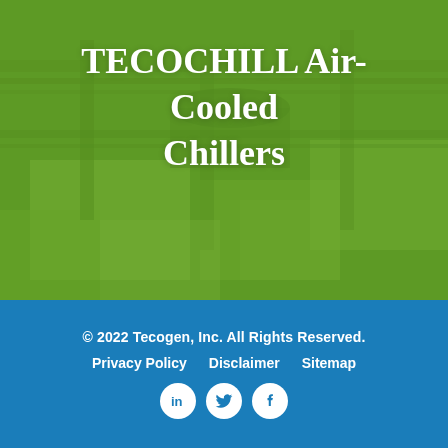[Figure (photo): Green-tinted industrial machinery/manufacturing equipment photo used as hero background for TECOCHILL Air-Cooled Chillers product page]
TECOCHILL Air-Cooled Chillers
© 2022 Tecogen, Inc. All Rights Reserved.
Privacy Policy   Disclaimer   Sitemap
[Figure (logo): Social media icons: LinkedIn, Twitter, Facebook - white circles on blue background]